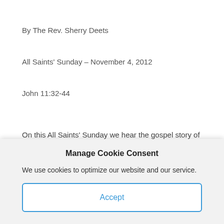By The Rev. Sherry Deets
All Saints' Sunday – November 4, 2012
John 11:32-44
On this All Saints' Sunday we hear the gospel story of Jesus raising Lazarus from the dead. It is a challenging story. It challenges our faith. Are we able to accept the raising of Lazarus as an historical event or was it just fiction? No scientific data can support the metaphysical possibility that Jesus brought the dead man, Lazarus, back to life. Neither does the gospel story explain how it happened.
Manage Cookie Consent
We use cookies to optimize our website and our service.
Accept